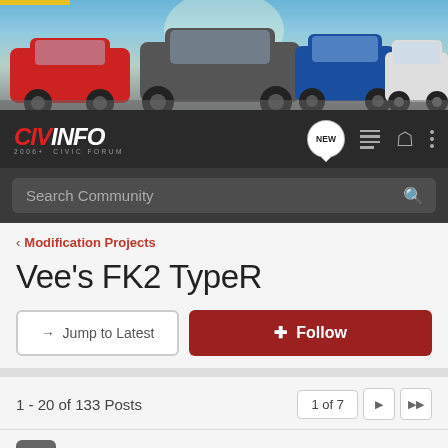[Figure (photo): Banner image showing multiple Honda Civic cars (red, grey, blue, white) parked on a plaza with sky background and CivInfo branding]
[Figure (logo): CivInfo logo - red CIV and white INFO in bold italic, with subtitle '2006+ CIVIC FORUM']
Search Community
< Modification Projects
Vee's FK2 TypeR
→ Jump to Latest
+ Follow
1 - 20 of 133 Posts
1 of 7
veehexx · Premium Member 🇬🇧